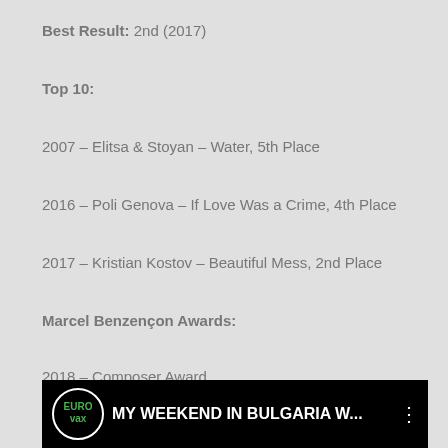Best Result: 2nd (2017)
Top 10:
2007 – Elitsa & Stoyan – Water, 5th Place
2016 – Poli Genova – If Love Was a Crime, 4th Place
2017 – Kristian Kostov – Beautiful Mess, 2nd Place
Marcel Benzençon Awards:
2018 – Composer Award
[Figure (screenshot): Video thumbnail bar showing Eurovision logo with text 'MY WEEKEND IN BULGARIA W...' on black background with three-dot menu]